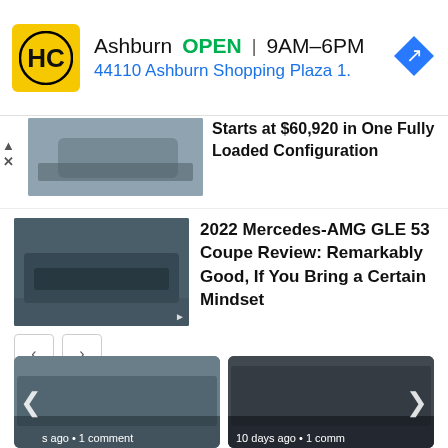[Figure (screenshot): Ad banner: HC logo, Ashburn OPEN 9AM-6PM, 44110 Ashburn Shopping Plaza 1., navigation arrow icon]
Starts at $60,920 in One Fully Loaded Configuration
[Figure (photo): 2022 Mercedes-AMG GLE 53 Coupe dark colored SUV coupe side/front view]
2022 Mercedes-AMG GLE 53 Coupe Review: Remarkably Good, If You Bring a Certain Mindset
ALSO ON THE FAST LANE CAR
[Figure (photo): Bottom thumbnail left: car on road, partially visible, with left arrow navigation and text 's ago • 1 comment']
[Figure (photo): Bottom thumbnail right: dark car, partially visible, with right arrow navigation and text '10 days ago • 1 comm']